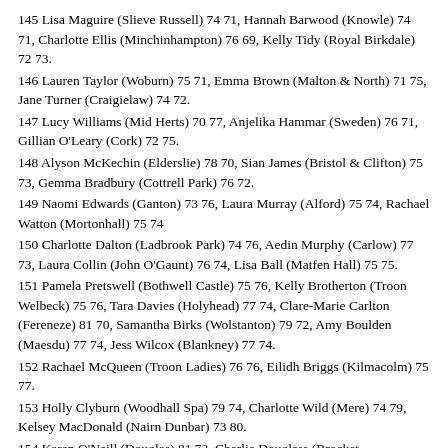145 Lisa Maguire (Slieve Russell) 74 71, Hannah Barwood (Knowle) 74 71, Charlotte Ellis (Minchinhampton) 76 69, Kelly Tidy (Royal Birkdale) 72 73.
146 Lauren Taylor (Woburn) 75 71, Emma Brown (Malton & North) 71 75, Jane Turner (Craigielaw) 74 72.
147 Lucy Williams (Mid Herts) 70 77, Anjelika Hammar (Sweden) 76 71, Gillian O'Leary (Cork) 72 75.
148 Alyson McKechin (Elderslie) 78 70, Sian James (Bristol & Clifton) 75 73, Gemma Bradbury (Cottrell Park) 76 72.
149 Naomi Edwards (Ganton) 73 76, Laura Murray (Alford) 75 74, Rachael Watton (Mortonhall) 75 74
150 Charlotte Dalton (Ladbrook Park) 74 76, Aedin Murphy (Carlow) 77 73, Laura Collin (John O'Gaunt) 76 74, Lisa Ball (Matfen Hall) 75 75.
151 Pamela Pretswell (Bothwell Castle) 75 76, Kelly Brotherton (Troon Welbeck) 75 76, Tara Davies (Holyhead) 77 74, Clare-Marie Carlton (Fereneze) 81 70, Samantha Birks (Wolstanton) 79 72, Amy Boulden (Maesdu) 77 74, Jess Wilcox (Blankney) 77 74.
152 Rachael McQueen (Troon Ladies) 76 76, Eilidh Briggs (Kilmacolm) 75 77.
153 Holly Clyburn (Woodhall Spa) 79 74, Charlotte Wild (Mere) 74 79, Kelsey MacDonald (Nairn Dunbar) 73 80.
154 Karen O'Neill (Douglas) 81 73, Charlie Douglass (Brocket